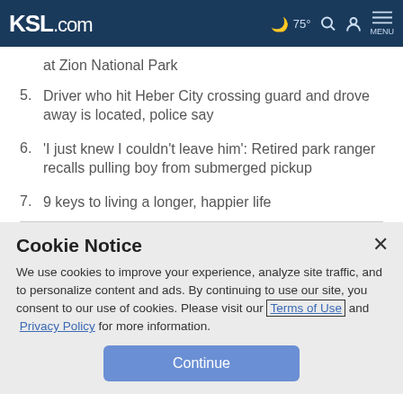KSL.com  75°  MENU
at Zion National Park
5. Driver who hit Heber City crossing guard and drove away is located, police say
6. 'I just knew I couldn't leave him': Retired park ranger recalls pulling boy from submerged pickup
7. 9 keys to living a longer, happier life
Cookie Notice
We use cookies to improve your experience, analyze site traffic, and to personalize content and ads. By continuing to use our site, you consent to our use of cookies. Please visit our Terms of Use and Privacy Policy for more information.
Continue